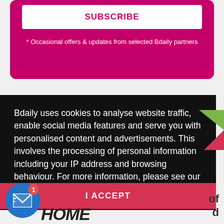SUBSCRIBE
* Occasional offers & updates from selected Bdaily partners
Bdaily uses cookies to analyse website traffic, enable social media features and serve you with personalised content and advertisements. This involves the processing of personal information including your IP address and browsing behaviour. For more information, please see our Cookies Policy
I ACCEPT